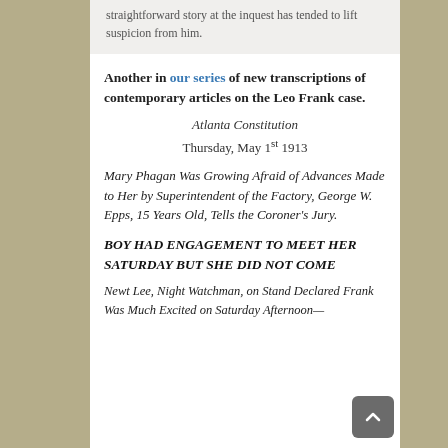straightforward story at the inquest has tended to lift suspicion from him.
Another in our series of new transcriptions of contemporary articles on the Leo Frank case.
Atlanta Constitution
Thursday, May 1st 1913
Mary Phagan Was Growing Afraid of Advances Made to Her by Superintendent of the Factory, George W. Epps, 15 Years Old, Tells the Coroner's Jury.
BOY HAD ENGAGEMENT TO MEET HER SATURDAY BUT SHE DID NOT COME
Newt Lee, Night Watchman, on Stand Declared Frank Was Much Excited on Saturday Afternoon—